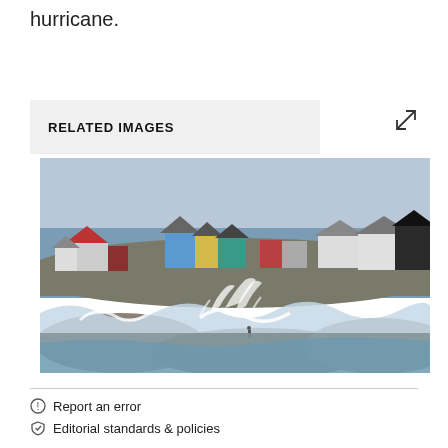hurricane.
RELATED IMAGES
[Figure (photo): Coastal scene with colorful houses on rocky shore and waves crashing in the foreground, overcast sky]
Report an error
Editorial standards & policies